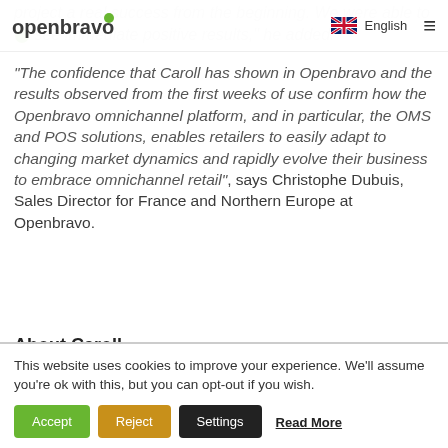project a real success from the beginning. We were able to see immediate positive results, he added.
[Figure (logo): Openbravo logo with green dot]
English
“The confidence that Caroll has shown in Openbravo and the results observed from the first weeks of use confirm how the Openbravo omnichannel platform, and in particular, the OMS and POS solutions, enables retailers to easily adapt to changing market dynamics and rapidly evolve their business to embrace omnichannel retail”, says Christophe Dubuis, Sales Director for France and Northern Europe at Openbravo.
About Caroll
This website uses cookies to improve your experience. We’ll assume you’re ok with this, but you can opt-out if you wish.
Accept
Reject
Settings
Read More